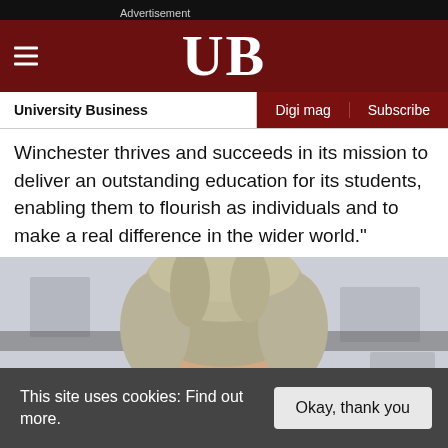Advertisement
UB
University Business | Digi mag | Subscribe
Winchester thrives and succeeds in its mission to deliver an outstanding education for its students, enabling them to flourish as individuals and to make a real difference in the wider world."
[Figure (photo): Partial view of a person's head with grey/blonde hair against a blurred background]
This site uses cookies: Find out more.